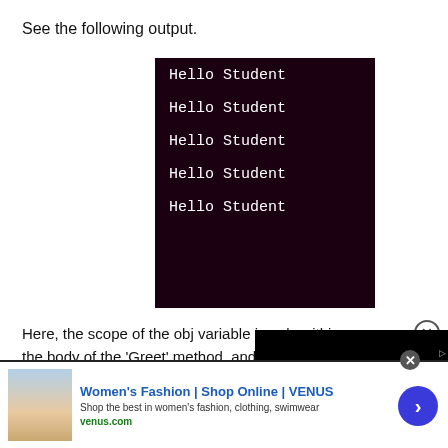See the following output.
[Figure (screenshot): Terminal window with dark maroon background showing 'Hello Student' printed five times in white monospace text]
Here, the scope of the obj variable is only within the body of the 'Greet' method, and as method Greet is completed, th garbage collection. It should b